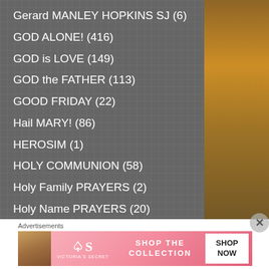Gerard MANLEY HOPKINS SJ (6)
GOD ALONE! (416)
GOD is LOVE (149)
GOD the FATHER (113)
GOOD FRIDAY (22)
Hail MARY! (86)
HEROSIM (1)
HOLY COMMUNION (58)
Holy Family PRAYERS (2)
Holy Name PRAYERS (20)
HOLY ORDERS (6)
Advertisements
[Figure (photo): Victoria's Secret advertisement banner with woman model, VS logo, 'SHOP THE COLLECTION' text, and 'SHOP NOW' button on pink background]